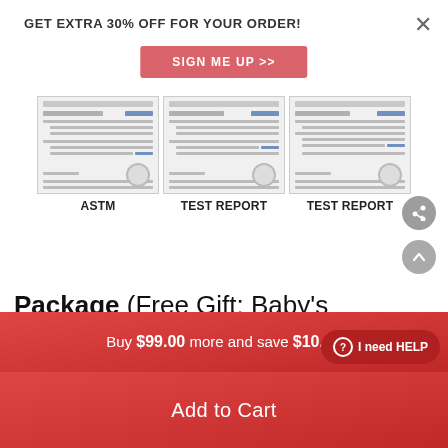GET EXTRA 30% OFF FOR YOUR ORDER!
SIGN ME UP >>
[Figure (screenshot): Three document thumbnails labeled ASTM, TEST REPORT, TEST REPORT]
ASTM   TEST REPORT   TEST REPORT
Package (Free Gift: Baby's Bottle And Pacifier)
Buy $99.00 more and save $10.00
Add to Cart